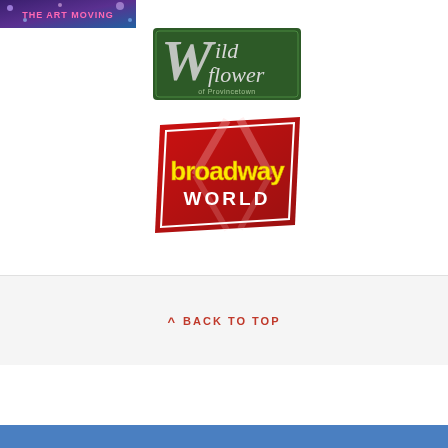[Figure (logo): Small banner logo reading 'THE ART MOVING' with colorful background, top left corner]
[Figure (logo): Wildflower of Provincetown logo — green rectangular badge with stylized 'W' and floral script text]
[Figure (logo): Broadway World logo — red ticket-shaped graphic with yellow 'broadway' text and white 'WORLD' subtitle]
^ BACK TO TOP